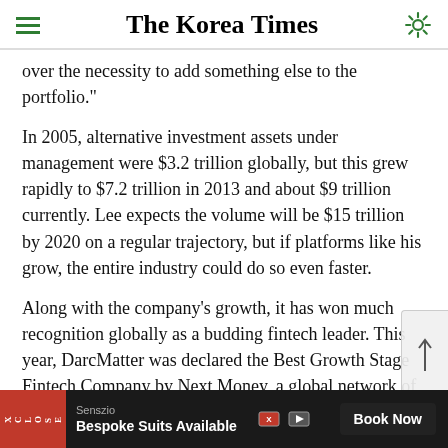The Korea Times
over the necessity to add something else to the portfolio."
In 2005, alternative investment assets under management were $3.2 trillion globally, but this grew rapidly to $7.2 trillion in 2013 and about $9 trillion currently. Lee expects the volume will be $15 trillion by 2020 on a regular trajectory, but if platforms like his grow, the entire industry could do so even faster.
Along with the company's growth, it has won much recognition globally as a budding fintech leader. This year, DarcMatter was declared the Best Growth Stage Fintech Company by Next Money, a global network of
Senszio | Bespoke Suits Available | Book Now